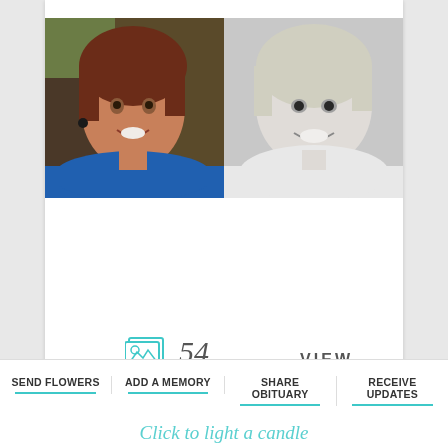[Figure (photo): Two photos side by side: left is a color portrait of an older woman with reddish-brown hair wearing a blue top, smiling; right is a black-and-white photo of a young child smiling.]
54
VIEW
SEND FLOWERS
ADD A MEMORY
SHARE OBITUARY
RECEIVE UPDATES
Click to light a candle